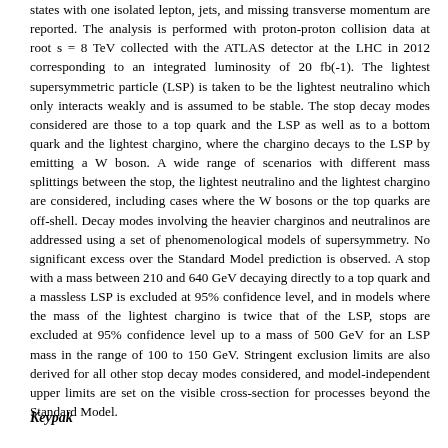states with one isolated lepton, jets, and missing transverse momentum are reported. The analysis is performed with proton-proton collision data at root s = 8 TeV collected with the ATLAS detector at the LHC in 2012 corresponding to an integrated luminosity of 20 fb(-1). The lightest supersymmetric particle (LSP) is taken to be the lightest neutralino which only interacts weakly and is assumed to be stable. The stop decay modes considered are those to a top quark and the LSP as well as to a bottom quark and the lightest chargino, where the chargino decays to the LSP by emitting a W boson. A wide range of scenarios with different mass splittings between the stop, the lightest neutralino and the lightest chargino are considered, including cases where the W bosons or the top quarks are off-shell. Decay modes involving the heavier charginos and neutralinos are addressed using a set of phenomenological models of supersymmetry. No significant excess over the Standard Model prediction is observed. A stop with a mass between 210 and 640 GeV decaying directly to a top quark and a massless LSP is excluded at 95% confidence level, and in models where the mass of the lightest chargino is twice that of the LSP, stops are excluded at 95% confidence level up to a mass of 500 GeV for an LSP mass in the range of 100 to 150 GeV. Stringent exclusion limits are also derived for all other stop decay modes considered, and model-independent upper limits are set on the visible cross-section for processes beyond the Standard Model.
Keypak